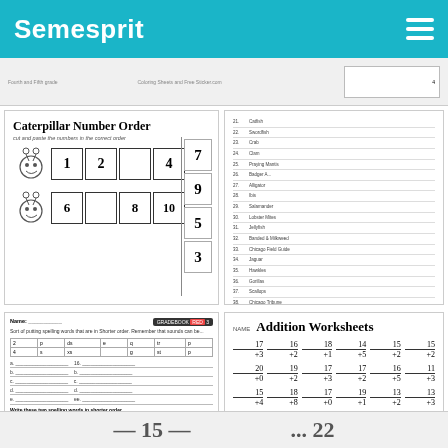Semesprit
[Figure (illustration): Caterpillar Number Order worksheet showing two caterpillar rows with smiley faces and number boxes. Top row: 1, 2, _, 4 with cut-out numbers 7, 9, 5, 3 on right side. Bottom row: 6, 8, _, 10.]
[Figure (other): Numbered list worksheet with multiple lines of text items and lines for writing.]
[Figure (other): Ordering worksheet with name field, grade badge, description, table of numbers, exercises, and word ordering section.]
[Figure (other): Addition Worksheets page with NAME label and grid of 24 addition problems including: 17+3, 16+2, 18+1, 14+5, 15+2, 15+2, 20+0, 19+2, 17+3, 17+2, 16+5, 11+3, 15+4, 18+8, 17+0, 19+1, 13+2, 13+3, 17+2, 15+5, 10+2, 10+10, 13+2, 10+2.]
15  ...  22